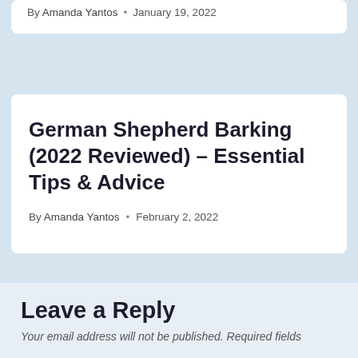By Amanda Yantos • January 19, 2022
German Shepherd Barking (2022 Reviewed) – Essential Tips & Advice
By Amanda Yantos • February 2, 2022
Leave a Reply
Your email address will not be published. Required fields